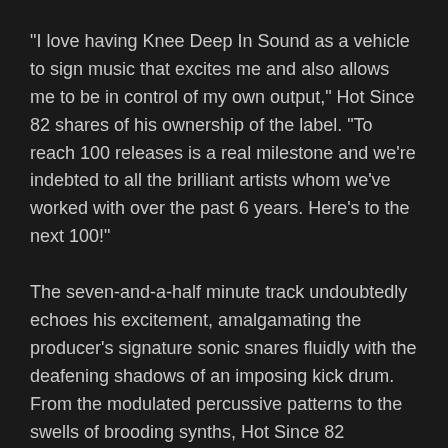"I love having Knee Deep In Sound as a vehicle to sign music that excites me and also allows me to be in control of my own output," Hot Since 82 shares of his ownership of the label. "To reach 100 releases is a real milestone and we're indebted to all the brilliant artists whom we've worked with over the past 6 years. Here's to the next 100!"
The seven-and-a-half minute track undoubtedly echoes his excitement, amalgamating the producer's signature sonic snares fluidly with the deafening shadows of an imposing kick drum. From the modulated percussive patterns to the swells of brooding synths, Hot Since 82 flawlessly paint a minimalistic juxtaposition that fuses house and techno together into what is "Make Up". It's the interspersed melodic breakdowns that fuel the perfect uncanny, adding